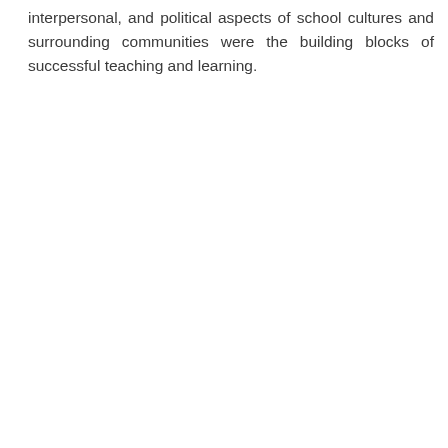interpersonal, and political aspects of school cultures and surrounding communities were the building blocks of successful teaching and learning.